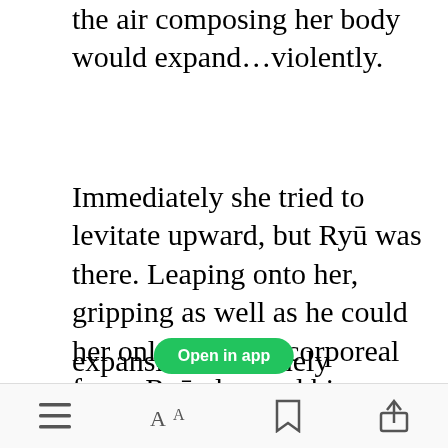the air composing her body would expand...violently.
Immediately she tried to levitate upward, but Ryū was there. Leaping onto her, gripping as well as he could her only partially corporeal form, Ryū clamped his arms tight and weighed her down. She rose a few paces; not attacking but not suffering the effects of an explosive expansion in a timely manner.
[Figure (screenshot): Green 'Open in app' button overlay]
Menu | Font size | Bookmark | Share